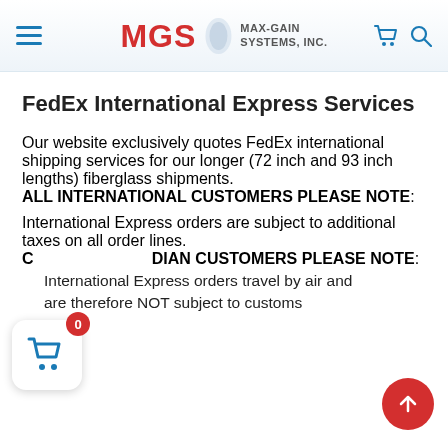MGS MAX-GAIN SYSTEMS, INC.
FedEx International Express Services
Our website exclusively quotes FedEx international shipping services for our longer (72 inch and 93 inch lengths) fiberglass shipments.
ALL INTERNATIONAL CUSTOMERS PLEASE NOTE:
International Express orders are subject to additional taxes on all order lines.
CANADIAN CUSTOMERS PLEASE NOTE:
International Express orders travel by air and are therefore NOT subject to customs